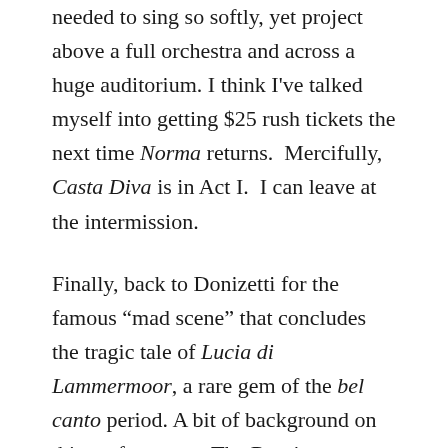needed to sing so softly, yet project above a full orchestra and across a huge auditorium. I think I've talked myself into getting $25 rush tickets the next time Norma returns.  Mercifully, Casta Diva is in Act I.  I can leave at the intermission.
Finally, back to Donizetti for the famous “mad scene” that concludes the tragic tale of Lucia di Lammermoor, a rare gem of the bel canto period. A bit of background on this performance. The Russian soprano Anna Netrebko burst onto the scene in 2005, becoming within a few short years the top attraction at opera houses worldwide. Possessed of a crystal clear, luxurious soprano, she was made for bel canto. Better yet, she formed a partnership with young Mexican tenor Rolando Villazon, their voices as perfectly suited to